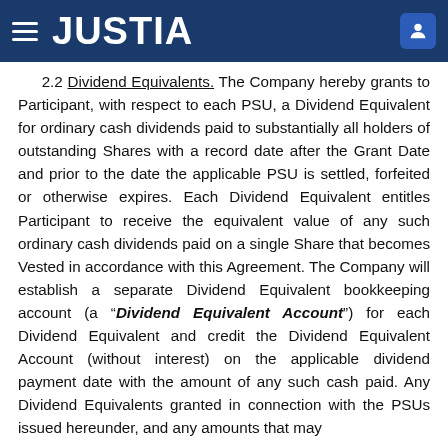JUSTIA
2.2 Dividend Equivalents. The Company hereby grants to Participant, with respect to each PSU, a Dividend Equivalent for ordinary cash dividends paid to substantially all holders of outstanding Shares with a record date after the Grant Date and prior to the date the applicable PSU is settled, forfeited or otherwise expires. Each Dividend Equivalent entitles Participant to receive the equivalent value of any such ordinary cash dividends paid on a single Share that becomes Vested in accordance with this Agreement. The Company will establish a separate Dividend Equivalent bookkeeping account (a “Dividend Equivalent Account”) for each Dividend Equivalent and credit the Dividend Equivalent Account (without interest) on the applicable dividend payment date with the amount of any such cash paid. Any Dividend Equivalents granted in connection with the PSUs issued hereunder, and any amounts that may be credited to the Dividend Equivalent Account...